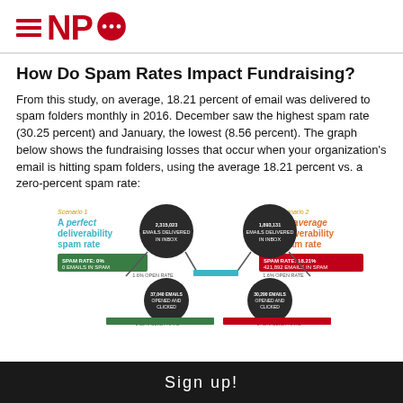NPQ
How Do Spam Rates Impact Fundraising?
From this study, on average, 18.21 percent of email was delivered to spam folders monthly in 2016. December saw the highest spam rate (30.25 percent) and January, the lowest (8.56 percent). The graph below shows the fundraising losses that occur when your organization's email is hitting spam folders, using the average 18.21 percent vs. a zero-percent spam rate:
[Figure (infographic): Infographic comparing two email deliverability scenarios: Scenario 1 (A perfect deliverability spam rate) vs Scenario 2 (An average deliverability spam rate). Shows fundraising losses with circles representing email stats and click rates, connected by lines.]
Sign up!